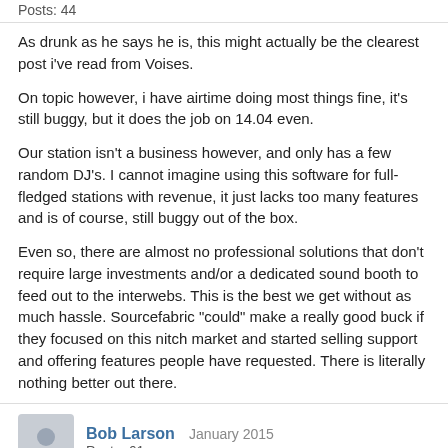Posts: 44
As drunk as he says he is, this might actually be the clearest post i've read from Voises.

On topic however, i have airtime doing most things fine, it's still buggy, but it does the job on 14.04 even.

Our station isn't a business however, and only has a few random DJ's. I cannot imagine using this software for full-fledged stations with revenue, it just lacks too many features and is of course, still buggy out of the box.

Even so, there are almost no professional solutions that don't require large investments and/or a dedicated sound booth to feed out to the interwebs. This is the best we get without as much hassle. Sourcefabric "could" make a really good buck if they focused on this nitch market and started selling support and offering features people have requested. There is literally nothing better out there.
Bob Larson  January 2015
Posts: 61
It's now 2015, and we still have no update. What's happening with the fork idea? Pretty much the only reason we're using Airtime right now is because of cost savings. If we could afford two servers, we would be running SAM or, hell, maybe we'll hookup an iPad connected via the